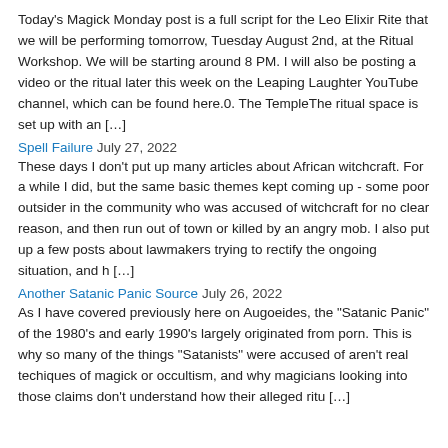Today's Magick Monday post is a full script for the Leo Elixir Rite that we will be performing tomorrow, Tuesday August 2nd, at the Ritual Workshop. We will be starting around 8 PM. I will also be posting a video or the ritual later this week on the Leaping Laughter YouTube channel, which can be found here.0. The TempleThe ritual space is set up with an […]
Spell Failure July 27, 2022
These days I don't put up many articles about African witchcraft. For a while I did, but the same basic themes kept coming up - some poor outsider in the community who was accused of witchcraft for no clear reason, and then run out of town or killed by an angry mob. I also put up a few posts about lawmakers trying to rectify the ongoing situation, and h […]
Another Satanic Panic Source July 26, 2022
As I have covered previously here on Augoeides, the "Satanic Panic" of the 1980's and early 1990's largely originated from porn. This is why so many of the things "Satanists" were accused of aren't real techiques of magick or occultism, and why magicians looking into those claims don't understand how their alleged ritu […]